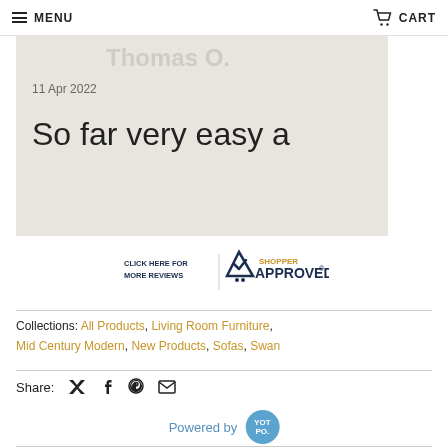MENU | CART
Thomas O.
11 Apr 2022
So far very easy a
[Figure (logo): Shopper Approved badge with 'CLICK HERE FOR MORE REVIEWS' text and checkmark logo]
Collections: All Products, Living Room Furniture, Mid Century Modern, New Products, Sofas, Swan
Share: [Twitter] [Facebook] [Pinterest] [Email]
Powered by YOTPO